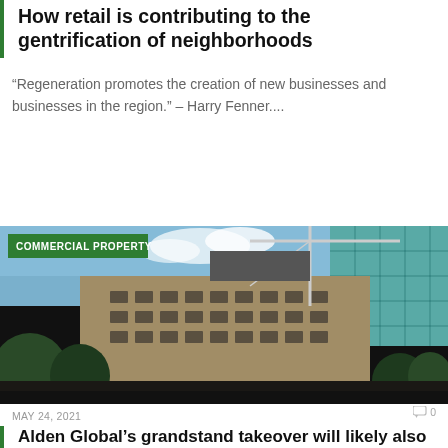How retail is contributing to the gentrification of neighborhoods
“Regeneration promotes the creation of new businesses and businesses in the region.” – Harry Fenner....
[Figure (photo): Photograph of urban commercial buildings and skyscrapers under construction with a crane visible, green glass tower on the right, with a 'COMMERCIAL PROPERTY' badge overlaid in green at the top left.]
MAY 24, 2021
0
Alden Global’s grandstand takeover will likely also